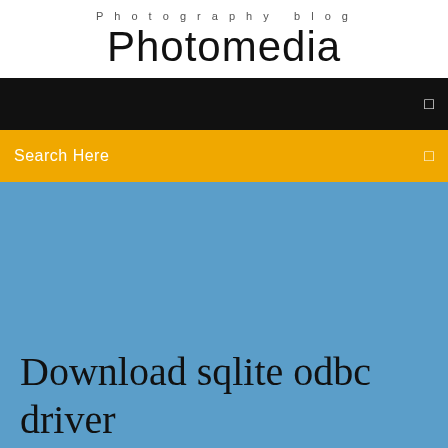Photography blog
Photomedia
[Figure (screenshot): Black navigation bar with a small square icon on the right]
[Figure (screenshot): Orange/yellow search bar with 'Search Here' text on the left and a small square icon on the right]
Download sqlite odbc driver